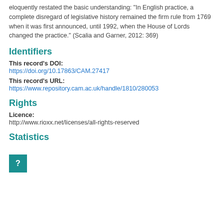eloquently restated the basic understanding: "In English practice, a complete disregard of legislative history remained the firm rule from 1769 when it was first announced, until 1992, when the House of Lords changed the practice." (Scalia and Garner, 2012: 369)
Identifiers
This record's DOI:
https://doi.org/10.17863/CAM.27417
This record's URL:
https://www.repository.cam.ac.uk/handle/1810/280053
Rights
Licence:
http://www.rioxx.net/licenses/all-rights-reserved
Statistics
[Figure (other): A teal/dark-cyan square button with a white question mark symbol inside]